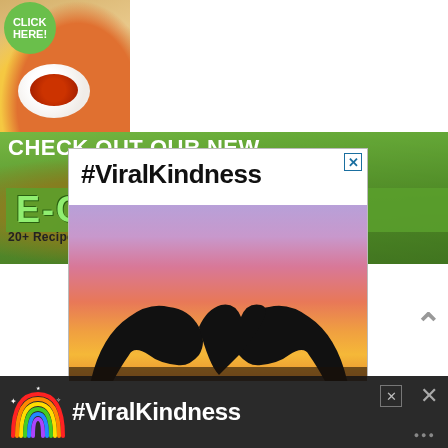[Figure (infographic): E-Cookbook promotional banner. Left side shows food photo with sauce bowl and chopsticks. Right side has green background with text 'CHECK OUT OUR NEW E-COOKBOOK 20+ Recipes to Become a Cruelty-Free Kitchen Badass'. A click-here button circle is visible top left.]
[Figure (infographic): Advertisement with text '#ViralKindness' above a sunset photo of hands forming a heart silhouette. Has close X button top right.]
[Figure (infographic): Bottom bar advertisement on dark background showing a rainbow icon and '#ViralKindness' text.]